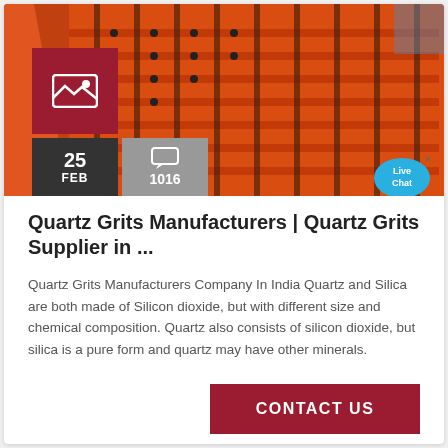[Figure (photo): Photo of orange industrial metal grating/grid machinery parts stacked in a row, viewed from an angle]
Quartz Grits Manufacturers | Quartz Grits Supplier in ...
Quartz Grits Manufacturers Company In India Quartz and Silica are both made of Silicon dioxide, but with different size and chemical composition. Quartz also consists of silicon dioxide, but silica is a pure form and quartz may have other minerals.
CONTACT US